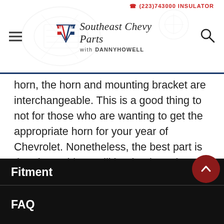Southeast Chevy Parts with DANNY HOWELL
horn, the horn and mounting bracket are interchangeable. This is a good thing to not for those who are wanting to get the appropriate horn for your year of Chevrolet. Nonetheless, the best part is that these things will honk! These horns are built when ordered and are drop shipped from our builder. In specific cases we can rush an order, but in most cases please allow additional 10 days for shipment.
Fitment
FAQ